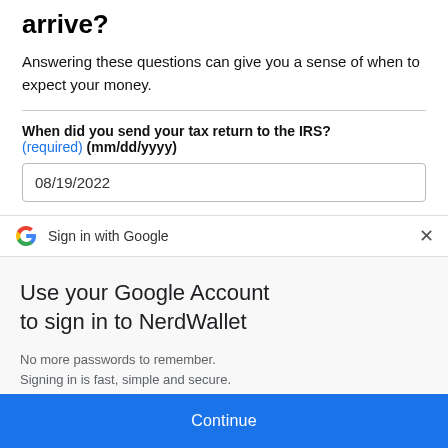arrive?
Answering these questions can give you a sense of when to expect your money.
When did you send your tax return to the IRS? (required) (mm/dd/yyyy)
08/19/2022
Sign in with Google
Use your Google Account to sign in to NerdWallet
No more passwords to remember. Signing in is fast, simple and secure.
Continue